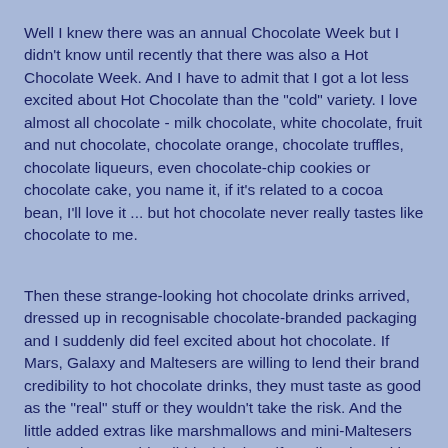Well I knew there was an annual Chocolate Week but I didn't know until recently that there was also a Hot Chocolate Week. And I have to admit that I got a lot less excited about Hot Chocolate than the "cold" variety. I love almost all chocolate - milk chocolate, white chocolate, fruit and nut chocolate, chocolate orange, chocolate truffles, chocolate liqueurs, even chocolate-chip cookies or chocolate cake, you name it, if it's related to a cocoa bean, I'll love it ... but hot chocolate never really tastes like chocolate to me.
Then these strange-looking hot chocolate drinks arrived, dressed up in recognisable chocolate-branded packaging and I suddenly did feel excited about hot chocolate. If Mars, Galaxy and Maltesers are willing to lend their brand credibility to hot chocolate drinks, they must taste as good as the "real" stuff or they wouldn't take the risk. And the little added extras like marshmallows and mini-Maltesers (as toppings or side nibbles) look as if you'll end up with something as luxurious and decadent as you'd only ever